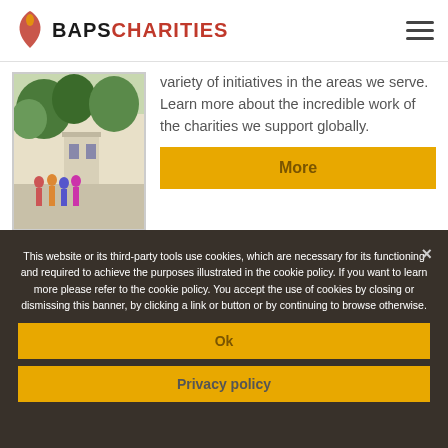BAPS CHARITIES
[Figure (photo): Photo of people in colorful saris near a white-walled building with trees in background]
variety of initiatives in the areas we serve. Learn more about the incredible work of the charities we support globally.
More
This website or its third-party tools use cookies, which are necessary for its functioning and required to achieve the purposes illustrated in the cookie policy. If you want to learn more please refer to the cookie policy. You accept the use of cookies by closing or dismissing this banner, by clicking a link or button or by continuing to browse otherwise.
Ok
Privacy policy